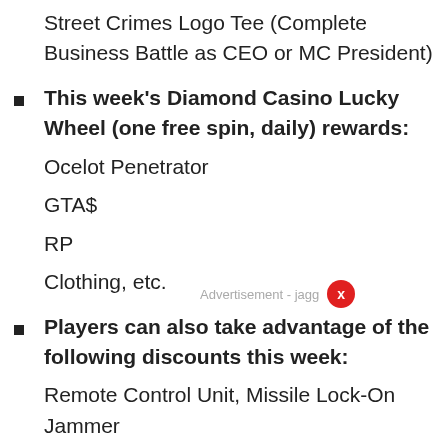Street Crimes Logo Tee (Complete Business Battle as CEO or MC President)
This week's Diamond Casino Lucky Wheel (one free spin, daily) rewards:
Ocelot Penetrator
GTA$
RP
Clothing, etc.
Players can also take advantage of the following discounts this week:
Remote Control Unit, Missile Lock-On Jammer
Imani Tech upgrades (25% Off - Available on select ‘The Contract’ vehicles)
Enus Deity (40% Off)